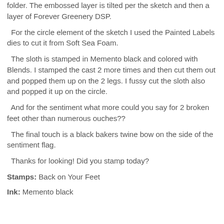folder.  The embossed layer is tilted per the sketch and then a layer of Forever Greenery DSP.
For the circle element of the sketch I used the Painted Labels dies to cut it from Soft Sea Foam.
The sloth is stamped in Memento black and colored with Blends.  I stamped the cast 2 more times and then cut them out and popped them up on the 2 legs.  I fussy cut the sloth also and popped it up on the circle.
And for the sentiment what more could you say for 2 broken feet other than numerous ouches??
The final touch is a black bakers twine bow on the side of the sentiment flag.
Thanks for looking!  Did you stamp today?
Stamps: Back on Your Feet
Ink: Memento black